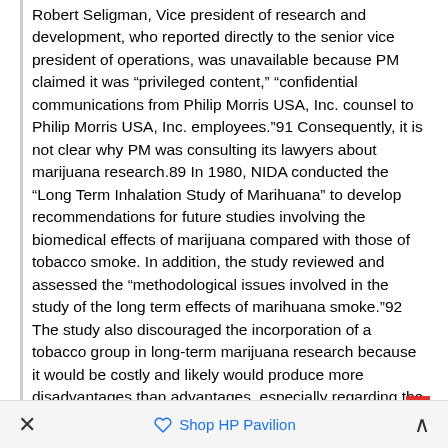Robert Seligman, Vice president of research and development, who reported directly to the senior vice president of operations, was unavailable because PM claimed it was "privileged content," "confidential communications from Philip Morris USA, Inc. counsel to Philip Morris USA, Inc. employees."91 Consequently, it is not clear why PM was consulting its lawyers about marijuana research.89 In 1980, NIDA conducted the "Long Term Inhalation Study of Marihuana" to develop recommendations for future studies involving the biomedical effects of marijuana compared with those of tobacco smoke. In addition, the study reviewed and assessed the "methodological issues involved in the study of the long term effects of marihuana smoke."92 The study also discouraged the incorporation of a tobacco group in long-term marijuana research because it would be costly and likely would produce more disadvantages than advantages, especially regarding the "interpretation of the data at the conclusion of the study."92 NIDA did not reveal why it discouraged the incorporation of the tobacco industry in marijuana research.6 92 Fagan, PM's principal
✕   Shop HP Pavilion   ∧